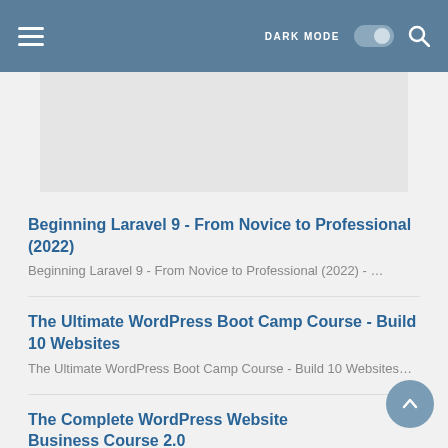≡  DARK MODE  🔍
[Figure (other): Gray advertisement banner placeholder]
Beginning Laravel 9 - From Novice to Professional (2022)
Beginning Laravel 9 - From Novice to Professional (2022) - …
The Ultimate WordPress Boot Camp Course - Build 10 Websites
The Ultimate WordPress Boot Camp Course - Build 10 Websites…
The Complete WordPress Website Business Course 2.0
The Complete WordPress Website Business Course